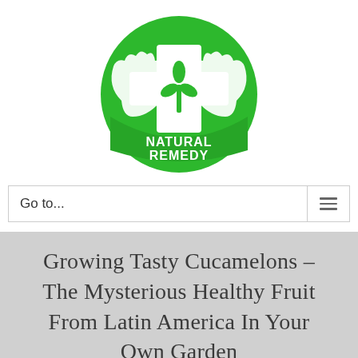[Figure (logo): Top Natural Remedy logo: green circle with white medical cross, plant/leaf icon, and two white hands cradling it. Text 'TOP NATURAL REMEDY' in white at the bottom of the circle.]
Go to...
Growing Tasty Cucamelons – The Mysterious Healthy Fruit From Latin America In Your Own Garden